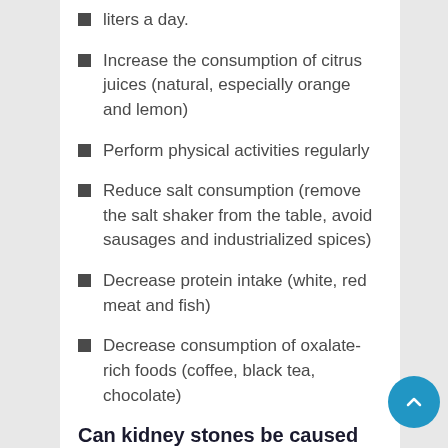liters a day.
Increase the consumption of citrus juices (natural, especially orange and lemon)
Perform physical activities regularly
Reduce salt consumption (remove the salt shaker from the table, avoid sausages and industrialized spices)
Decrease protein intake (white, red meat and fish)
Decrease consumption of oxalate-rich foods (coffee, black tea, chocolate)
Can kidney stones be caused by excess vitamin C?